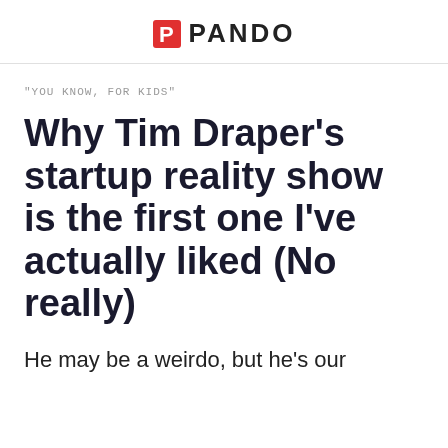PANDO
"YOU KNOW, FOR KIDS"
Why Tim Draper’s startup reality show is the first one I’ve actually liked (No really)
He may be a weirdo, but he’s our